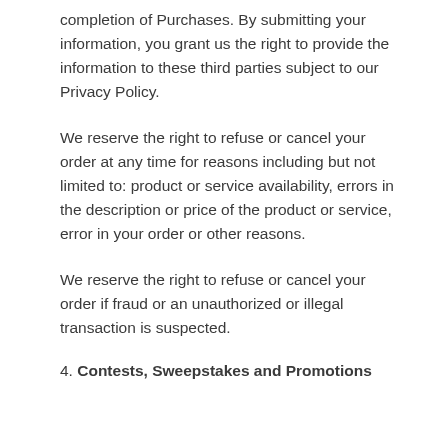completion of Purchases. By submitting your information, you grant us the right to provide the information to these third parties subject to our Privacy Policy.
We reserve the right to refuse or cancel your order at any time for reasons including but not limited to: product or service availability, errors in the description or price of the product or service, error in your order or other reasons.
We reserve the right to refuse or cancel your order if fraud or an unauthorized or illegal transaction is suspected.
4. Contests, Sweepstakes and Promotions